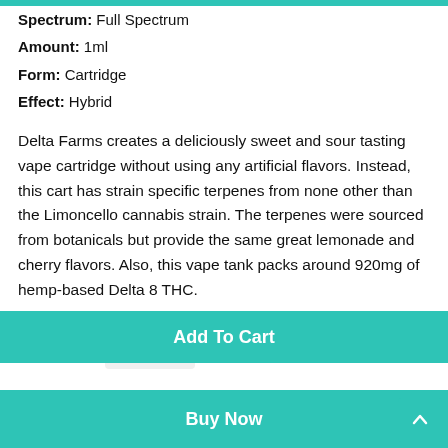Spectrum: Full Spectrum
Amount: 1ml
Form: Cartridge
Effect: Hybrid
Delta Farms creates a deliciously sweet and sour tasting vape cartridge without using any artificial flavors. Instead, this cart has strain specific terpenes from none other than the Limoncello cannabis strain. The terpenes were sourced from botanicals but provide the same great lemonade and cherry flavors. Also, this vape tank packs around 920mg of hemp-based Delta 8 THC.
Quantity  1
Add To Cart
Buy Now